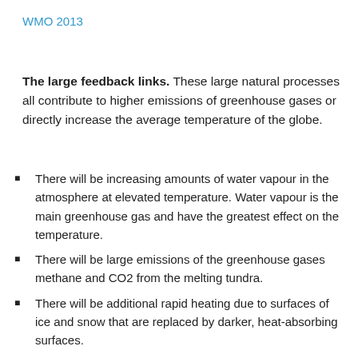WMO 2013
The large feedback links. These large natural processes all contribute to higher emissions of greenhouse gases or directly increase the average temperature of the globe.
There will be increasing amounts of water vapour in the atmosphere at elevated temperature. Water vapour is the main greenhouse gas and have the greatest effect on the temperature.
There will be large emissions of the greenhouse gases methane and CO2 from the melting tundra.
There will be additional rapid heating due to surfaces of ice and snow that are replaced by darker, heat-absorbing surfaces.